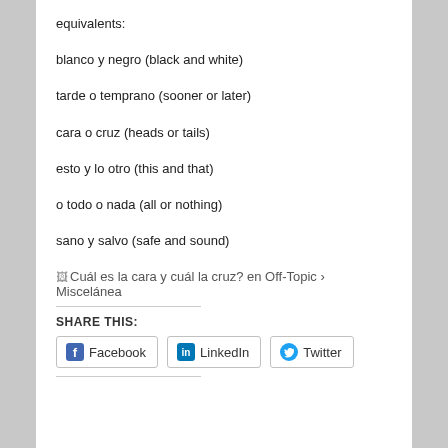equivalents:
blanco y negro (black and white)
tarde o temprano (sooner or later)
cara o cruz (heads or tails)
esto y lo otro (this and that)
o todo o nada (all or nothing)
sano y salvo (safe and sound)
[Figure (other): Broken image placeholder linking to: Cuál es la cara y cuál la cruz? en Off-Topic › Miscelánea]
SHARE THIS:
Facebook   LinkedIn   Twitter